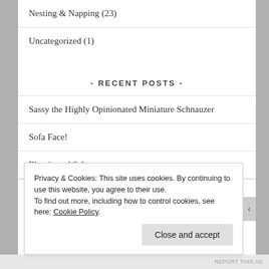Nesting & Napping (23)
Uncategorized (1)
- RECENT POSTS -
Sassy the Highly Opinionated Miniature Schnauzer
Sofa Face!
Illuminated Schnauzers
Privacy & Cookies: This site uses cookies. By continuing to use this website, you agree to their use. To find out more, including how to control cookies, see here: Cookie Policy
Close and accept
REPORT THIS AD